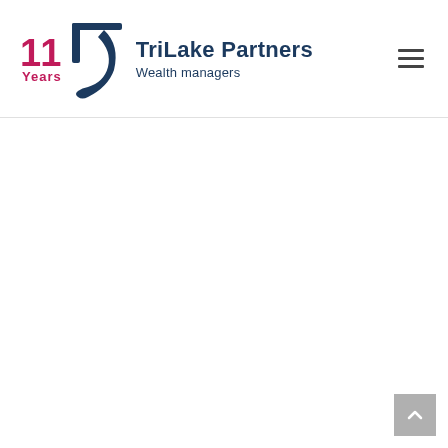[Figure (logo): TriLake Partners logo with '11 Years' badge, stylized pi/wave icon in dark blue, and text 'TriLake Partners Wealth managers' in dark navy]
[Figure (other): Hamburger menu icon (three horizontal lines) in the top right corner]
[Figure (other): Scroll to top button (grey square with upward chevron) in bottom right corner]